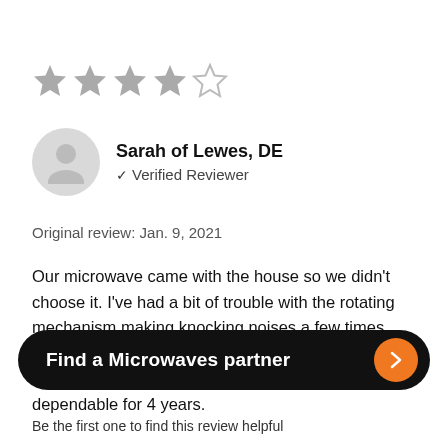[Figure (other): 4 out of 5 stars rating — 4 filled grey stars and 1 empty star]
Sarah of Lewes, DE
✓ Verified Reviewer
Original review: Jan. 9, 2021
Our microwave came with the house so we didn't choose it. I've had a bit of trouble with the rotating mechanism making knocking noises a few times which I've been able to finesse by exploring troubleshooting online. Other than that it's been dependable for 4 years.
Find a Microwaves partner
Be the first one to find this review helpful